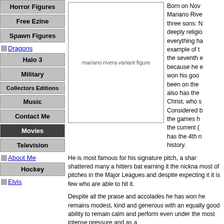Horror Figures
Free Ezine
Spawn Figures
Dragons
Halo 3
Military
Collectors Editions
Music
Contact Me
Movies
Television
About Me
Hockey
Elvis
[Figure (photo): mariano rivera variant figure — image placeholder with alt text]
Born on Nov Mariano Rive three sons: N deeply religio everything ha example of t the seventh e because he e won his goo been on the also has the Christ, who s Considered b the games h the current ( has the 4th n history.
He is most famous for his signature pitch, a shar shattered many a hitters bat earning it the nickna most of pitches in the Major Leagues and despite expecting it it is few who are able to hit it.
Despite all the praise and accolades he has won he remains modest, kind and generous with an equally good ability to remain calm and perform even under the most intense pressure and as a